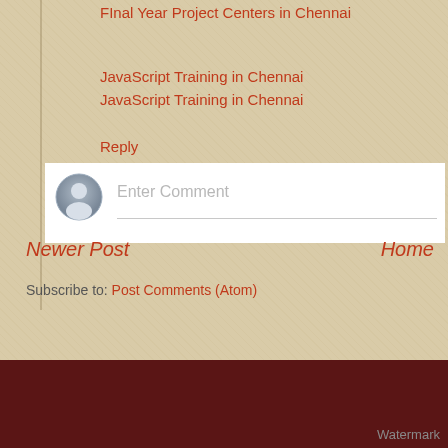FInal Year Project Centers in Chennai
JavaScript Training in Chennai
JavaScript Training in Chennai
Reply
[Figure (other): Enter Comment input box with user avatar icon]
Newer Post
Home
Subscribe to: Post Comments (Atom)
Watermark